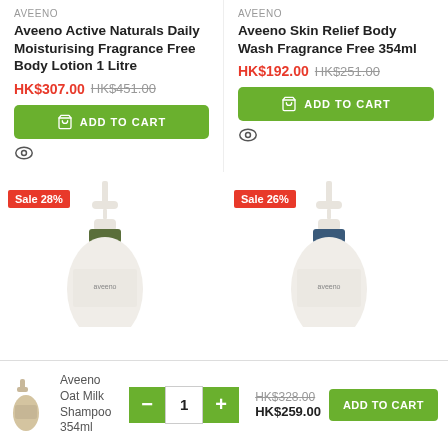AVEENO
Aveeno Active Naturals Daily Moisturising Fragrance Free Body Lotion 1 Litre
HK$307.00 HK$451.00
ADD TO CART
AVEENO
Aveeno Skin Relief Body Wash Fragrance Free 354ml
HK$192.00 HK$251.00
ADD TO CART
[Figure (photo): Aveeno body lotion pump bottle with Sale 28% badge]
[Figure (photo): Aveeno body wash pump bottle with Sale 26% badge]
[Figure (photo): Small thumbnail of Aveeno Oat Milk Shampoo 354ml bottle]
Aveeno Oat Milk Shampoo 354ml
HK$328.00 HK$259.00
ADD TO CART